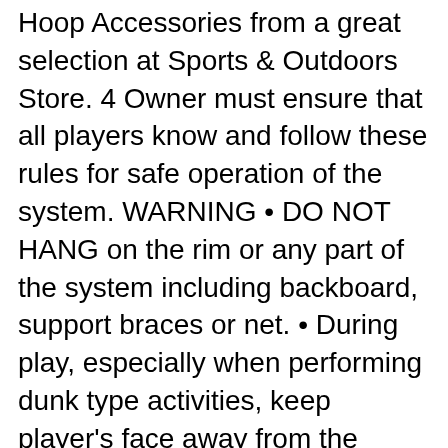Hoop Accessories from a great selection at Sports & Outdoors Store. 4 Owner must ensure that all players know and follow these rules for safe operation of the system. WARNING • DO NOT HANG on the rim or any part of the system including backboard, support braces or net. • During play, especially when performing dunk type activities, keep player's face away from the backboard, rim and net.
If you're looking for the original and the best, you can't go past Spalding basketballs. Check out our enormous range right here and be True to the Ga Thank you for reaching out to Spalding. If you think you have a damaged